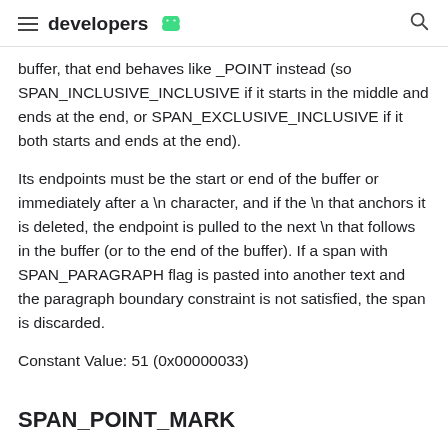developers
buffer, that end behaves like _POINT instead (so SPAN_INCLUSIVE_INCLUSIVE if it starts in the middle and ends at the end, or SPAN_EXCLUSIVE_INCLUSIVE if it both starts and ends at the end).
Its endpoints must be the start or end of the buffer or immediately after a \n character, and if the \n that anchors it is deleted, the endpoint is pulled to the next \n that follows in the buffer (or to the end of the buffer). If a span with SPAN_PARAGRAPH flag is pasted into another text and the paragraph boundary constraint is not satisfied, the span is discarded.
Constant Value: 51 (0x00000033)
SPAN_POINT_MARK